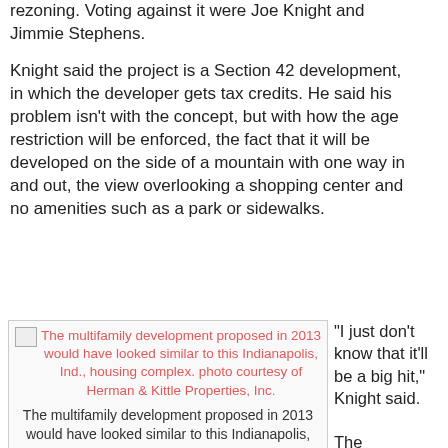rezoning. Voting against it were Joe Knight and Jimmie Stephens.
Knight said the project is a Section 42 development, in which the developer gets tax credits. He said his problem isn't with the concept, but with how the age restriction will be enforced, the fact that it will be developed on the side of a mountain with one way in and out, the view overlooking a shopping center and no amenities such as a park or sidewalks.
[Figure (photo): Placeholder image of a multifamily housing development, with pink alt/caption text indicating it would have looked similar to an Indianapolis, Ind., housing complex.]
The multifamily development proposed in 2013 would have looked similar to this Indianapolis, Ind., housing complex. photo courtesy of Herman & Kittle Properties, Inc.
“I just don’t know that it’ll be a big hit,” Knight said.

The